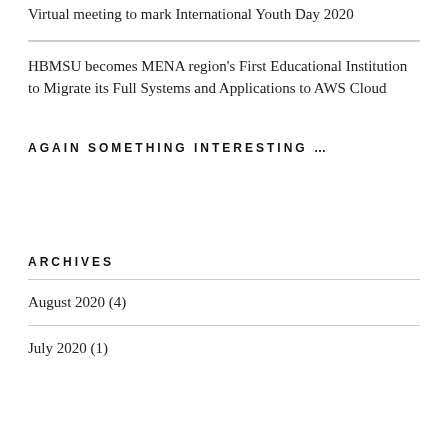Virtual meeting to mark International Youth Day 2020
HBMSU becomes MENA region's First Educational Institution to Migrate its Full Systems and Applications to AWS Cloud
AGAIN SOMETHING INTERESTING …
ARCHIVES
August 2020 (4)
July 2020 (1)